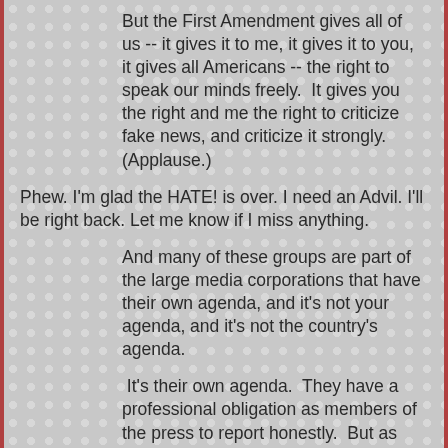But the First Amendment gives all of us -- it gives it to me, it gives it to you, it gives all Americans -- the right to speak our minds freely.  It gives you the right and me the right to criticize fake news, and criticize it strongly.  (Applause.)
Phew. I'm glad the HATE! is over. I need an Advil. I'll be right back. Let me know if I miss anything.
And many of these groups are part of the large media corporations that have their own agenda, and it's not your agenda, and it's not the country's agenda.
It's their own agenda.  They have a professional obligation as members of the press to report honestly.  But as you saw throughout the entire campaign, and even now, the fake